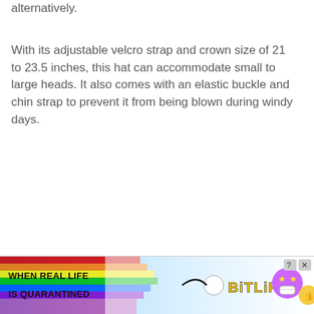alternatively.
With its adjustable velcro strap and crown size of 21 to 23.5 inches, this hat can accommodate small to large heads. It also comes with an elastic buckle and chin strap to prevent it from being blown during windy days.
[Figure (infographic): Advertisement banner for BitLife game reading 'WHEN REAL LIFE IS QUARANTINED' with rainbow background, emoji mascot, and BitLife logo in yellow text]